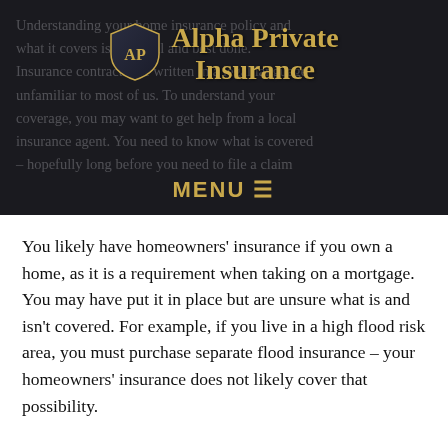[Figure (logo): Alpha Private Insurance logo with shield icon and company name in gold text on dark background, with navigation MENU bar below]
Understanding your home insurance policy and what it covers is essential and best done. Insurance contracts are written in a legal language unfamiliar to most of us. To understand your coverage, you may want to get help from a local insurance agent. You need to know what is covered – hopefully long before you need to file a claim
You likely have homeowners' insurance if you own a home, as it is a requirement when taking on a mortgage. You may have put it in place but are unsure what is and isn't covered. For example, if you live in a high flood risk area, you must purchase separate flood insurance – your homeowners' insurance does not likely cover that possibility.